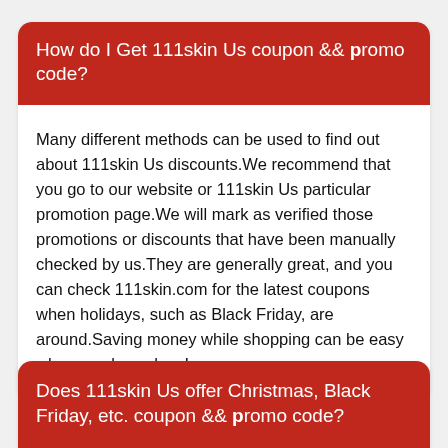How do I Get 111skin Us coupon && promo code?
Many different methods can be used to find out about 111skin Us discounts.We recommend that you go to our website or 111skin Us particular promotion page.We will mark as verified those promotions or discounts that have been manually checked by us.They are generally great, and you can check 111skin.com for the latest coupons when holidays, such as Black Friday, are around.Saving money while shopping can be easy when you know how!
Does 111skin Us offer Christmas, Black Friday, etc. coupon && promo code?